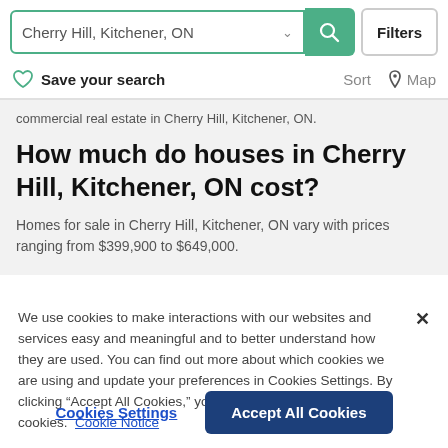Cherry Hill, Kitchener, ON  Filters
Save your search   Sort   Map
commercial real estate in Cherry Hill, Kitchener, ON.
How much do houses in Cherry Hill, Kitchener, ON cost?
Homes for sale in Cherry Hill, Kitchener, ON vary with prices ranging from $399,900 to $649,000.
We use cookies to make interactions with our websites and services easy and meaningful and to better understand how they are used. You can find out more about which cookies we are using and update your preferences in Cookies Settings. By clicking “Accept All Cookies,” you are agreeing to our use of cookies.  Cookie Notice
Cookies Settings   Accept All Cookies